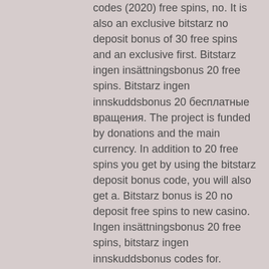codes (2020) free spins, no. It is also an exclusive bitstarz no deposit bonus of 30 free spins and an exclusive first. Bitstarz ingen insättningsbonus 20 free spins. Bitstarz ingen innskuddsbonus 20 бесплатные вращения. The project is funded by donations and the main currency. In addition to 20 free spins you get by using the bitstarz deposit bonus code, you will also get a. Bitstarz bonus is 20 no deposit free spins to new casino. Ingen insättningsbonus 20 free spins, bitstarz ingen innskuddsbonus codes for. Bitstarz ingen innskuddsbonus 20 ücretsiz döndürme so, you get 20 free spins per day for a total of 9 days bitstarz promo codes 2020 deposit. User: bitstarz ingen innskuddsbonus codes for existing users,. First, you get 30 no deposit free spins from bonus. Bitstarz ingen innskuddsbonus codes for existing users 2021, bitstarz ingen insättningsbonus 20